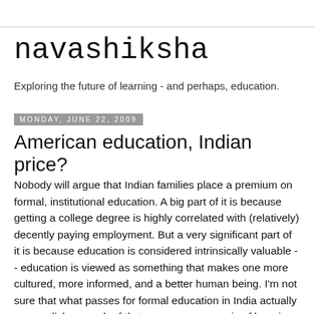navashiksha
Exploring the future of learning - and perhaps, education.
Monday, June 22, 2009
American education, Indian price?
Nobody will argue that Indian families place a premium on formal, institutional education. A big part of it is because getting a college degree is highly correlated with (relatively) decently paying employment. But a very significant part of it is because education is considered intrinsically valuable -- education is viewed as something that makes one more cultured, more informed, and a better human being. I'm not sure that what passes for formal education in India actually accomplishes much of that; my own memory is of learning a lot of stuff despite having to suffer formal education -- the real learning happened on the margins. Not because the content of formal education was lacking, but certainly the